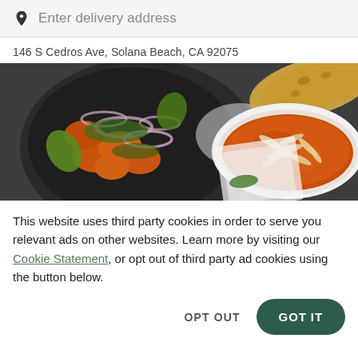Enter delivery address
146 S Cedros Ave, Solana Beach, CA 92075
[Figure (photo): Overhead photo of Indian food dishes including a plate of tikka with onions and tomatoes, a plate of naan bread, and a bowl of orange curry topped with slivered almonds on a dark background.]
This website uses third party cookies in order to serve you relevant ads on other websites. Learn more by visiting our Cookie Statement, or opt out of third party ad cookies using the button below.
OPT OUT
GOT IT